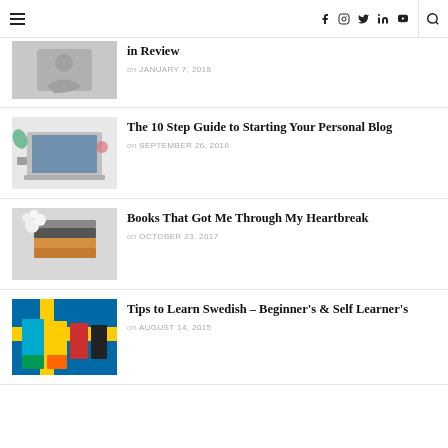Navigation bar with hamburger menu, social icons (Facebook, Instagram, Twitter, LinkedIn, YouTube), and search icon
[Figure (photo): Partially visible blog post thumbnail - person sitting cross-legged]
in Review
on JANUARY 7, 2018
[Figure (photo): Laptop on white desk with accessories - blog setup photo]
The 10 Step Guide to Starting Your Personal Blog
on SEPTEMBER 26, 2016
[Figure (photo): Stack of books with white flowers on a white background]
Books That Got Me Through My Heartbreak
on OCTOBER 23, 2017
[Figure (photo): Swedish language learning books and materials in bright colors]
Tips to Learn Swedish – Beginner's & Self Learner's
on AUGUST 14, 2015